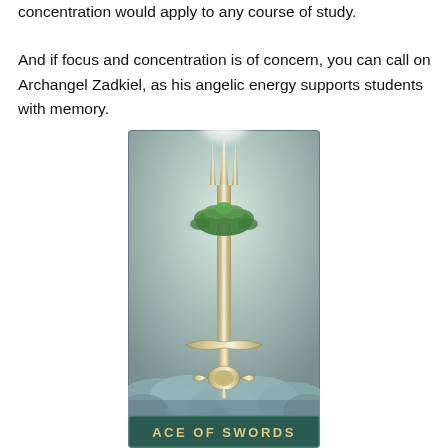concentration would apply to any course of study.

And if focus and concentration is of concern, you can call on Archangel Zadkiel, as his angelic energy supports students with memory.
[Figure (illustration): A tarot card image of the Ace of Swords: a large ornate sword pointing upward with a glowing white light at its tip, green foliage wrapped around the upper blade, and decorative crossguard, set against a misty cloudy sky background. A dark teal banner at the bottom reads 'ACE OF SWORDS' in gold/white capital letters.]